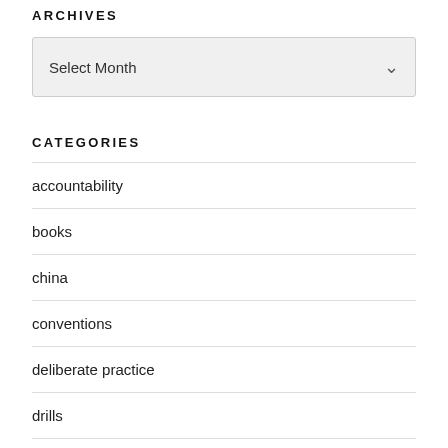ARCHIVES
[Figure (screenshot): A dropdown select box with placeholder text 'Select Month' and a chevron arrow on the right]
CATEGORIES
accountability
books
china
conventions
deliberate practice
drills
Go